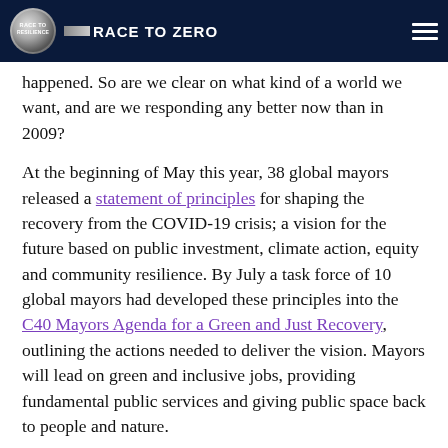Race to Resilience | Race to Zero
happened. So are we clear on what kind of a world we want, and are we responding any better now than in 2009?
At the beginning of May this year, 38 global mayors released a statement of principles for shaping the recovery from the COVID-19 crisis; a vision for the future based on public investment, climate action, equity and community resilience. By July a task force of 10 global mayors had developed these principles into the C40 Mayors Agenda for a Green and Just Recovery, outlining the actions needed to deliver the vision. Mayors will lead on green and inclusive jobs, providing fundamental public services and giving public space back to people and nature.